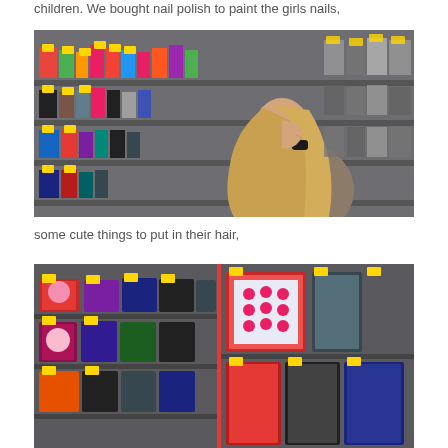children. We bought nail polish to paint the girls nails,
[Figure (photo): A woman with long blonde hair viewed from the side, browsing a retail store shelf stocked with nail polish and hair accessories products with yellow price tags.]
some cute things to put in their hair,
[Figure (photo): A retail store display shelf showing hair accessories, fashion items and bags with colorful packaging.]